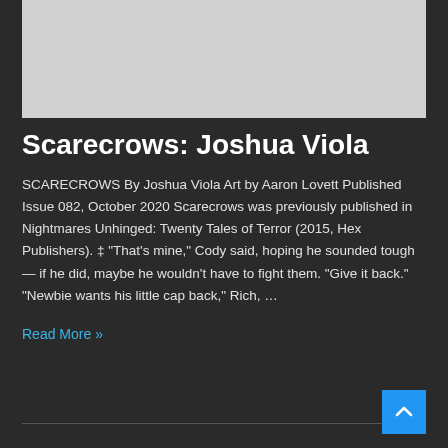[Figure (other): Gray placeholder image at the top of the card]
Scarecrows: Joshua Viola
SCARECROWS By Joshua Viola Art by Aaron Lovett Published Issue 082, October 2020 Scarecrows was previously published in Nightmares Unhinged: Twenty Tales of Terror (2015, Hex Publishers). ‡ “That’s mine,” Cody said, hoping he sounded tough — if he did, maybe he wouldn’t have to fight them. “Give it back.” “Newbie wants his little cap back,” Rich, …
Read More »